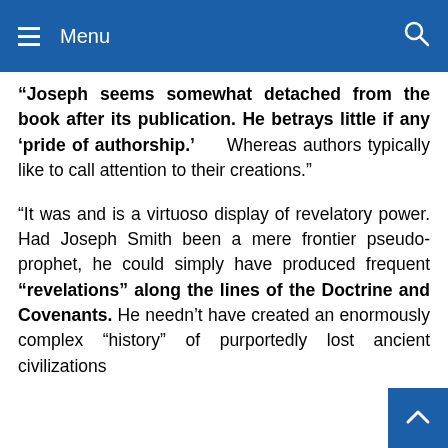Menu
“Joseph seems somewhat detached from the book after its publication. He betrays little if any ‘pride of authorship.’ Whereas authors typically like to call attention to their creations.”
“It was and is a virtuoso display of revelatory power. Had Joseph Smith been a mere frontier pseudo-prophet, he could simply have produced frequent “revelations” along the lines of the Doctrine and Covenants. He needn’t have created an enormously complex “history” of purportedly lost ancient civilizations